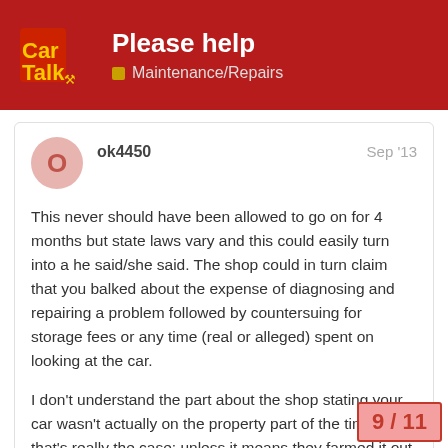Please help — Maintenance/Repairs — Car Talk
ok4450   Sep '13
This never should have been allowed to go on for 4 months but state laws vary and this could easily turn into a he said/she said. The shop could in turn claim that you balked about the expense of diagnosing and repairing a problem followed by countersuing for storage fees or any time (real or alleged) spent on looking at the car.

I don't understand the part about the shop stating your car wasn't actually on the property part of the time if that's really the case; unless it means they farmed it out and someone threw in the towel a
9 / 11